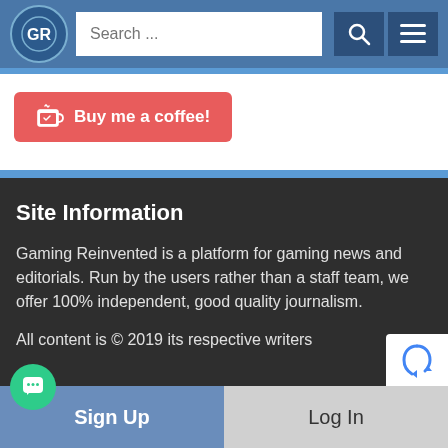GR Search ...
[Figure (screenshot): Buy me a coffee button - red/coral rounded button with coffee cup icon]
Site Information
Gaming Reinvented is a platform for gaming news and editorials. Run by the users rather than a staff team, we offer 100% independent, good quality journalism.
All content is © 2019 its respective writers
Sign Up  Log In